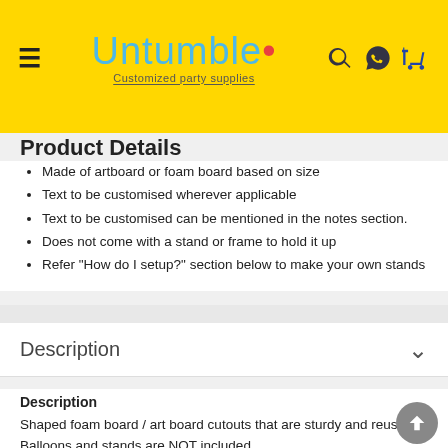Untumble — Customized party supplies
Product Details
Made of artboard or foam board based on size
Text to be customised wherever applicable
Text to be customised can be mentioned in the notes section.
Does not come with a stand or frame to hold it up
Refer "How do I setup?" section below to make your own stands
Description
Description
Shaped foam board / art board cutouts that are sturdy and reusable. Balloons and stands are NOT included.
Customization
You can add your kids name and if possible a small snippet of text to the design. Please mention the required customization in the notes text area provided.